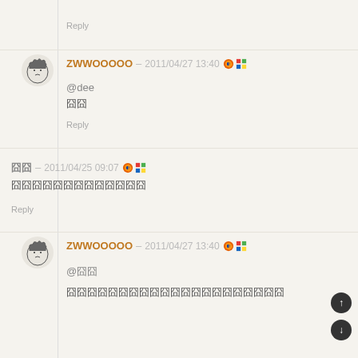Reply
ZWWOOOOO – 2011/04/27 13:40
@dee
囧囧
Reply
囧囧 – 2011/04/25 09:07
囧囧囧囧囧囧囧囧囧囧囧囧囧
Reply
ZWWOOOOO – 2011/04/27 13:40
@囧囧
囧囧囧囧囧囧囧囧囧囧囧囧囧囧囧囧囧囧囧囧囧